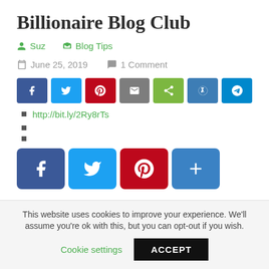Billionaire Blog Club
Suz   Blog Tips
June 25, 2019   1 Comment
[Figure (other): Row of social share buttons: Facebook, Twitter, Pinterest, Email, Share, WordPress, Telegram]
http://bit.ly/2Ry8rTs
[Figure (other): Large social share buttons: Facebook, Twitter, Pinterest, Add]
This website uses cookies to improve your experience. We'll assume you're ok with this, but you can opt-out if you wish.
Cookie settings   ACCEPT